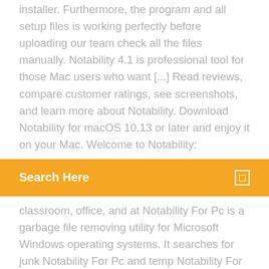installer. Furthermore, the program and all setup files is working perfectly before uploading our team check all the files manually. Notability 4.1 is professional tool for those Mac users who want [...] Read reviews, compare customer ratings, see screenshots, and learn more about Notability. Download Notability for macOS 10.13 or later and enjoy it on your Mac. Welcome to Notability:
[Figure (other): Orange search bar with white text 'Search Here' and a small white icon on the right]
classroom, office, and at Notability For Pc is a garbage file removing utility for Microsoft Windows operating systems. It searches for junk Notability For Pc and temp Notability For Pc that are of no use and are just taking Notability For Pc on your hard Notability For Pc.
Focus on what matters most and have access to your information when you need it. - Input typed notes or scan handwritten notes, add to-do's, photos, images,  Notability Cracked IPA Free Download | BLAPPMARKET Official iTunes Gift